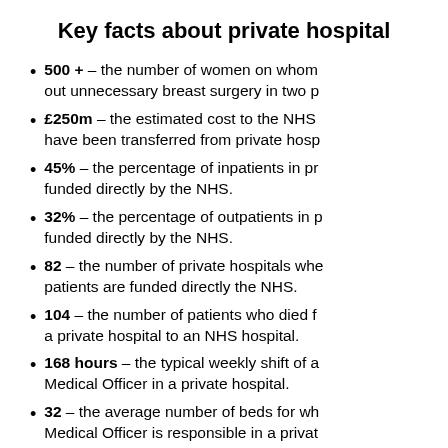Key facts about private hospital
500 + – the number of women on whom out unnecessary breast surgery in two p
£250m – the estimated cost to the NHS have been transferred from private hosp
45% – the percentage of inpatients in pr funded directly by the NHS.
32% – the percentage of outpatients in p funded directly by the NHS.
82 – the number of private hospitals whe patients are funded directly the NHS.
104 – the number of patients who died f a private hospital to an NHS hospital.
168 hours – the typical weekly shift of a Medical Officer in a private hospital.
32 – the average number of beds for wh Medical Officer is responsible in a privat